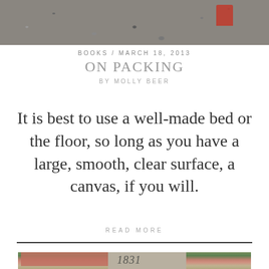[Figure (photo): Top photo: gravel or stone surface with a red object partially visible in the upper right corner]
BOOKS / MARCH 18, 2013
ON PACKING
BY MOLLY BEER
It is best to use a well-made bed or the floor, so long as you have a large, smooth, clear surface, a canvas, if you will.
READ MORE
[Figure (photo): Bottom photo: a historic building with red/pink walls and thatched roof, green hedge, and a stone with the number 1831 inscribed on it]